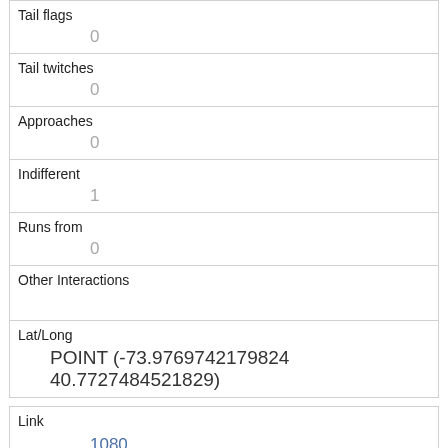| Tail flags | 0 |
| Tail twitches | 0 |
| Approaches | 0 |
| Indifferent | 1 |
| Runs from | 0 |
| Other Interactions |  |
| Lat/Long | POINT (-73.9769742179824 40.7727484521829) |
| Link | 1080 |
| rowid | 1080 |
| longitude |  |